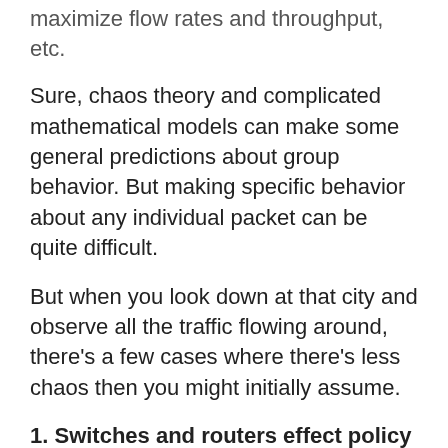maximize flow rates and throughput, etc.
Sure, chaos theory and complicated mathematical models can make some general predictions about group behavior. But making specific behavior about any individual packet can be quite difficult.
But when you look down at that city and observe all the traffic flowing around, there's a few cases where there's less chaos then you might initially assume.
1. Switches and routers effect policy that regulate traffic. In a managed network, certain types of traffic are made to behave a specific way. VLANs, for example, regulate and separate traffic into distinct sources and destinations. They only allow crossing to a different VLAN at